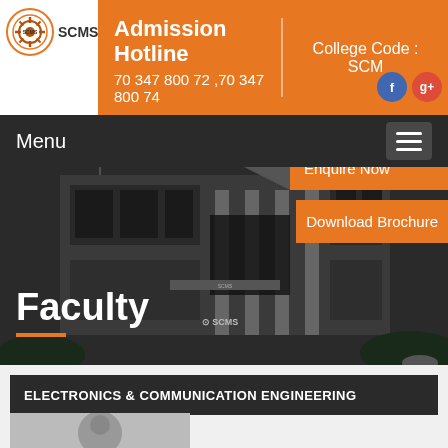[Figure (screenshot): SCMS college logo with gear/wheel icon]
Admission Hotline
70 347 800 72 ,70 347 800 74
College Code : SCM
Menu
[Figure (photo): SCMS School of Engineering & Technology building exterior with columns and triangular roof]
Faculty
Enquire Now
Download Brochure
ELECTRONICS & COMMUNICATION ENGINEERING
[Figure (photo): Faculty member portrait photo]